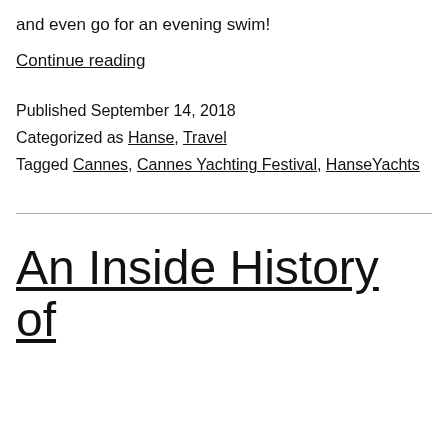and even go for an evening swim!
Continue reading
Published September 14, 2018
Categorized as Hanse, Travel
Tagged Cannes, Cannes Yachting Festival, HanseYachts
An Inside History of